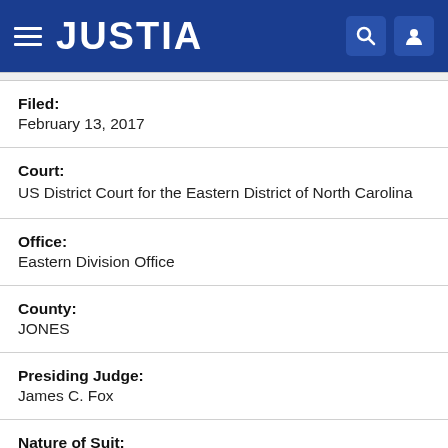JUSTIA
Filed:
February 13, 2017
Court:
US District Court for the Eastern District of North Carolina
Office:
Eastern Division Office
County:
JONES
Presiding Judge:
James C. Fox
Nature of Suit: